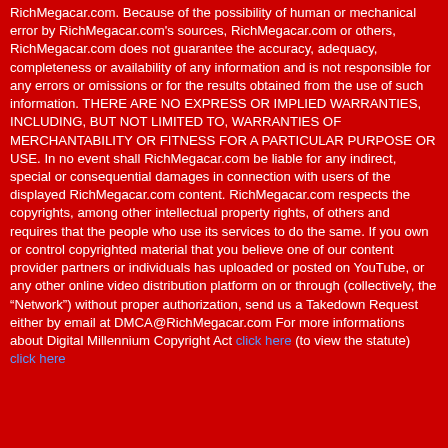RichMegacar.com. Because of the possibility of human or mechanical error by RichMegacar.com's sources, RichMegacar.com or others, RichMegacar.com does not guarantee the accuracy, adequacy, completeness or availability of any information and is not responsible for any errors or omissions or for the results obtained from the use of such information. THERE ARE NO EXPRESS OR IMPLIED WARRANTIES, INCLUDING, BUT NOT LIMITED TO, WARRANTIES OF MERCHANTABILITY OR FITNESS FOR A PARTICULAR PURPOSE OR USE. In no event shall RichMegacar.com be liable for any indirect, special or consequential damages in connection with users of the displayed RichMegacar.com content. RichMegacar.com respects the copyrights, among other intellectual property rights, of others and requires that the people who use its services to do the same. If you own or control copyrighted material that you believe one of our content provider partners or individuals has uploaded or posted on YouTube, or any other online video distribution platform on or through (collectively, the "Network") without proper authorization, send us a Takedown Request either by email at DMCA@RichMegacar.com For more informations about Digital Millennium Copyright Act click here (to view the statute) click here